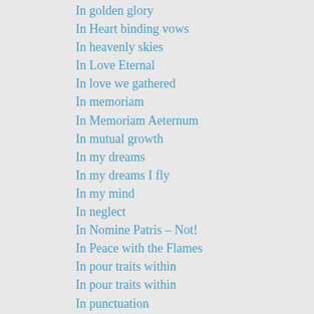In golden glory
In Heart binding vows
In heavenly skies
In Love Eternal
In love we gathered
In memoriam
In Memoriam Aeternum
In mutual growth
In my dreams
In my dreams I fly
In my mind
In neglect
In Nomine Patris – Not!
In Peace with the Flames
In pour traits within
In pour traits within
In punctuation
In rapture
In recognition
In reed I renewed myself
In rolls of thunder